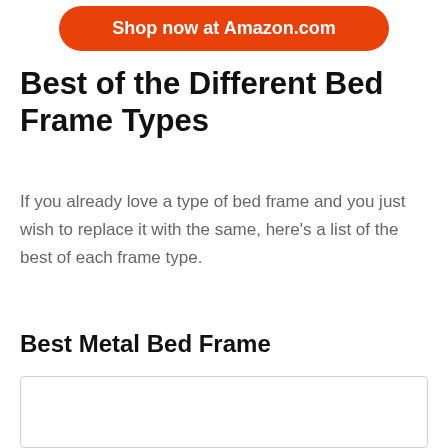[Figure (other): Orange rounded button with white text reading 'Shop now at Amazon.com']
Best of the Different Bed Frame Types
If you already love a type of bed frame and you just wish to replace it with the same, here’s a list of the best of each frame type.
Best Metal Bed Frame
[Figure (other): White image box with light gray border, partially visible at bottom of page]